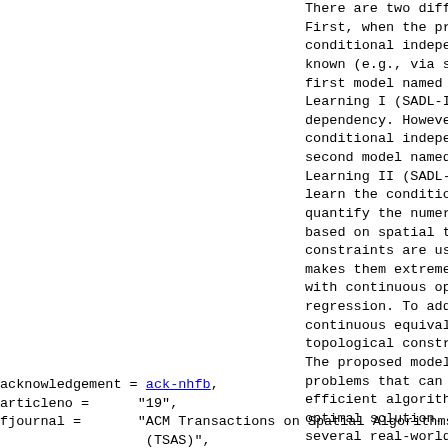There are two different scenarios to be considered. First, when the prior knowledge on existing conditional independence among spatial locations is known (e.g., via spatial contiguity), we propose a first model named Spatial-Autoregressive Deep Learning I (SADL-I) to further quantify the spatial dependency. However, when the knowledge of conditional independence is unknown or incomplete, a second model named Spatial-Autoregressive Deep Learning II (SADL-II) is proposed to automatically learn the conditional independence patterns and quantify the numerical values of the spatial weights based on spatial topological constraints. These constraints are usually discrete and non-differentiable, which makes them extremely difficult to be optimized together with continuous optimization problems of deep learning regression. To address this, we propose to seek the continuous equivalence of the original discrete topological constraints with a theoretical guarantee. The proposed models are then transferred to smooth problems that can be iteratively optimized with efficient algorithms until convergence to the global optimal solution. Extensive experimentation conducted on several real-world datasets demonstrates the outstanding performance of the proposed methods. The code of our SADL framework is available at http://mason.gmu.edu/~lzhao9/materials/d
acknowledgement = ack-nhfb,
articleno =      "19",
fjournal =       "ACM Transactions on Spatial Algorithms
                  (TSAS)",